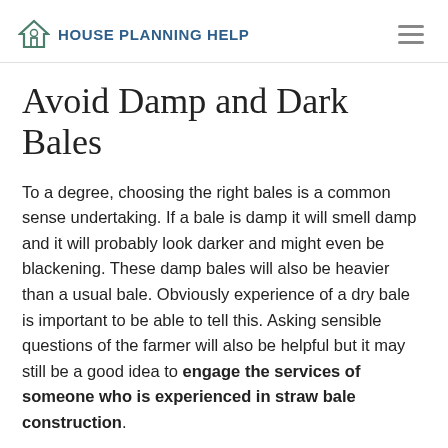House Planning Help
Avoid Damp and Dark Bales
To a degree, choosing the right bales is a common sense undertaking. If a bale is damp it will smell damp and it will probably look darker and might even be blackening. These damp bales will also be heavier than a usual bale. Obviously experience of a dry bale is important to be able to tell this. Asking sensible questions of the farmer will also be helpful but it may still be a good idea to engage the services of someone who is experienced in straw bale construction.